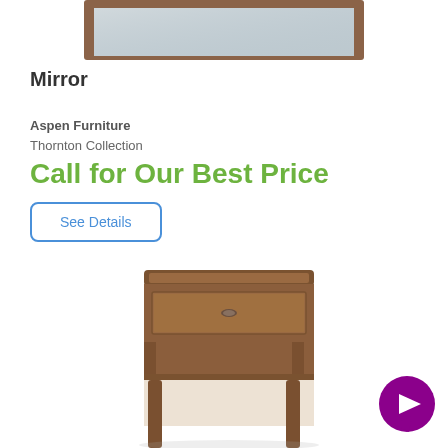[Figure (photo): Partial top view of a wooden framed mirror with brown/walnut finish, cropped at top of page]
Mirror
Aspen Furniture
Thornton Collection
Call for Our Best Price
See Details
[Figure (photo): Wooden nightstand with one drawer and open shelf below, brown/walnut finish, Thornton Collection by Aspen Furniture]
[Figure (other): Purple circular chat/messenger button icon in bottom right corner]